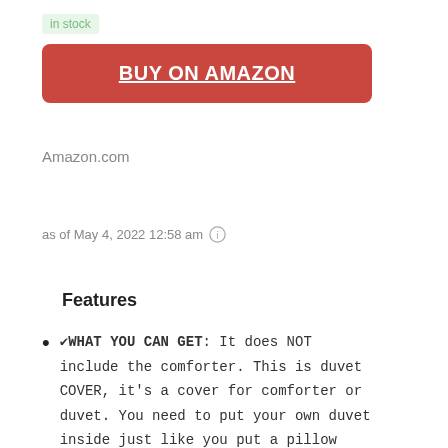in stock
BUY ON AMAZON
Amazon.com
as of May 4, 2022 12:58 am ℹ
Features
✔︎WHAT YOU CAN GET: It does NOT include the comforter. This is duvet COVER, it's a cover for comforter or duvet. You need to put your own duvet inside just like you put a pillow